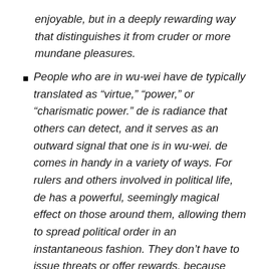enjoyable, but in a deeply rewarding way that distinguishes it from cruder or more mundane pleasures.
People who are in wu-wei have de typically translated as “virtue,” “power,” or “charismatic power.” de is radiance that others can detect, and it serves as an outward signal that one is in wu-wei. de comes in handy in a variety of ways. For rulers and others involved in political life, de has a powerful, seemingly magical effect on those around them, allowing them to spread political order in an instantaneous fashion. They don’t have to issue threats or offer rewards, because people simply want to obey them… If you have de, people like you, trust you, and are relaxed around you.
If you’re just using rewards and punishments — the